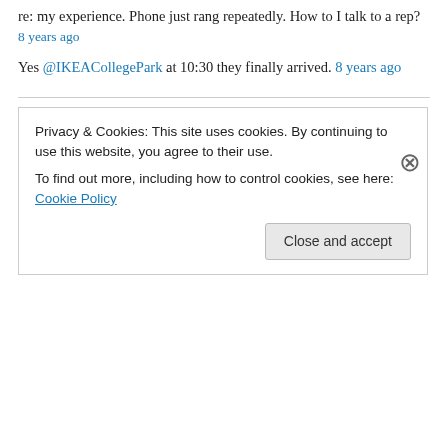re: my experience. Phone just rang repeatedly. How to I talk to a rep?
8 years ago
Yes @IKEACollegePark at 10:30 they finally arrived. 8 years ago
Recent Posts
An Ode to Craigslist
Spotlight on: Trader Joe's Bath and Body
I bought a house!
Gettin Gin-ny With It
The Ultimate Condiment: Caramelized Onion Jam
Privacy & Cookies: This site uses cookies. By continuing to use this website, you agree to their use. To find out more, including how to control cookies, see here: Cookie Policy